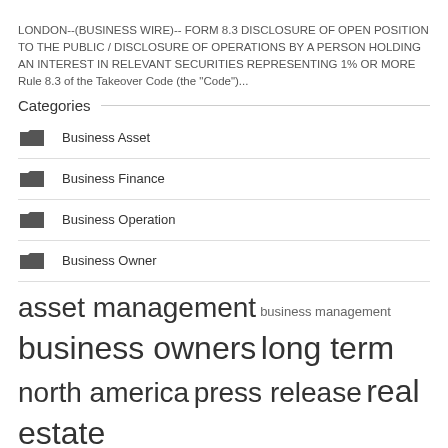LONDON--(BUSINESS WIRE)-- FORM 8.3 DISCLOSURE OF OPEN POSITION TO THE PUBLIC / DISCLOSURE OF OPERATIONS BY A PERSON HOLDING AN INTEREST IN RELEVANT SECURITIES REPRESENTING 1% OR MORE Rule 8.3 of the Takeover Code (the “Code”)...
Categories
Business Asset
Business Finance
Business Operation
Business Owner
asset management  business management  business owners  long term  north america  press release  real estate  reuters trust  small businesses